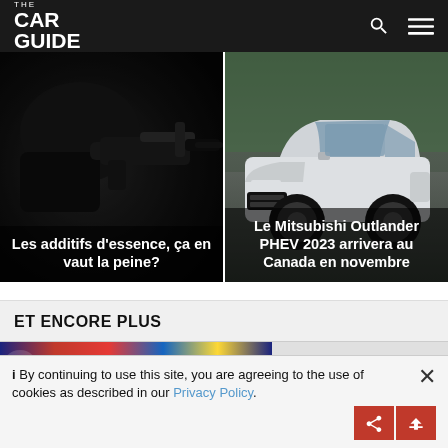THE CAR GUIDE
[Figure (photo): Close-up of a hand holding a fuel pump nozzle in a dark setting]
Les additifs d'essence, ça en vaut la peine?
[Figure (photo): White Mitsubishi Outlander PHEV 2023 SUV parked on a road with green trees in background]
Le Mitsubishi Outlander PHEV 2023 arrivera au Canada en novembre
ET ENCORE PLUS
[Figure (photo): Colorful promotional image strip with 'deluxe' text in stylized lettering]
i By continuing to use this site, you are agreeing to the use of cookies as described in our Privacy Policy.